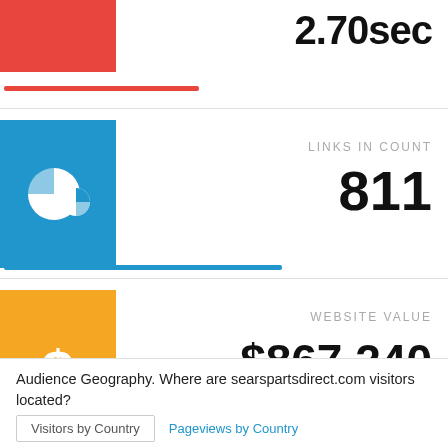2.70sec
LINKS IN COUNT
811
WEBSITE VALUE
$867,240
Audience Geography. Where are searspartsdirect.com visitors located?
Visitors by Country
Pageviews by Country